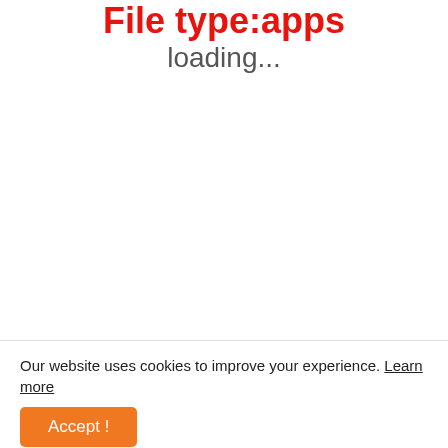File type:apps
loading...
Our website uses cookies to improve your experience. Learn more
Accept !